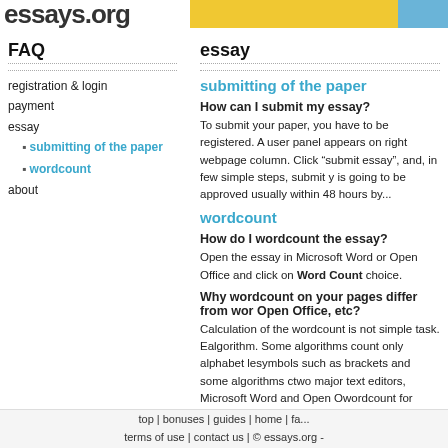essays.org
FAQ
registration & login
payment
essay
submitting of the paper
wordcount
about
essay
submitting of the paper
How can I submit my essay?
To submit your paper, you have to be registered. A user panel appears on right webpage column. Click “submit essay”, and, in few simple steps, submit your essay. It is going to be approved usually within 48 hours by...
wordcount
How do I wordcount the essay?
Open the essay in Microsoft Word or Open Office and click on Word Count choice.
Why wordcount on your pages differ from wordcount in Open Office, etc?
Calculation of the wordcount is not simple task. Each text editor uses its own algorithm. Some algorithms count only alphabet letters, some ignore symbols such as brackets and some algorithms do not. Even the two major text editors, Microsoft Word and Open Office, give different wordcount for same text. We tried to make our algorithm similar to what Microsoft Word does. Unfortunately, still there are cases that are not simple to overtake, so the wordcount sometimes may differ from what shown in your text editor.
top | bonuses | guides | home | fa...
terms of use | contact us | © essays.org -